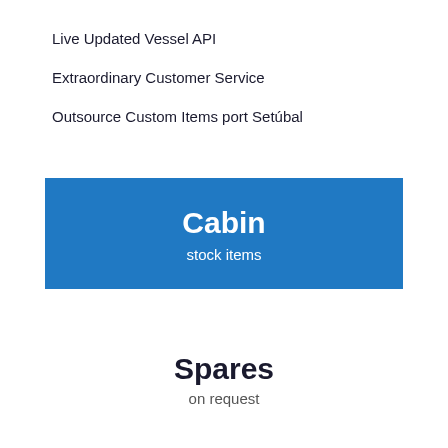Live Updated Vessel API
Extraordinary Customer Service
Outsource Custom Items port Setúbal
Cabin
stock items
Spares
on request